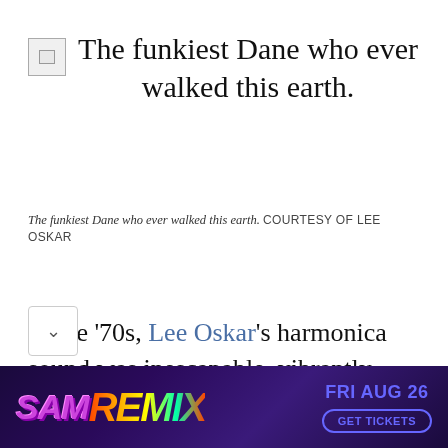[Figure (photo): Broken/placeholder image icon in top-left corner]
The funkiest Dane who ever walked this earth.
The funkiest Dane who ever walked this earth. COURTESY OF LEE OSKAR
In the '70s, Lee Oskar's harmonica sound was inescapable, vibrantly coloring the humid, Latin-tinged funk and soulful barrio ballads of California ensemble War's many hits and intriguing deep cuts. That a Danish Jewish
[Figure (infographic): Advertisement banner: SAM REMIX FRI AUG 26 GET TICKETS]